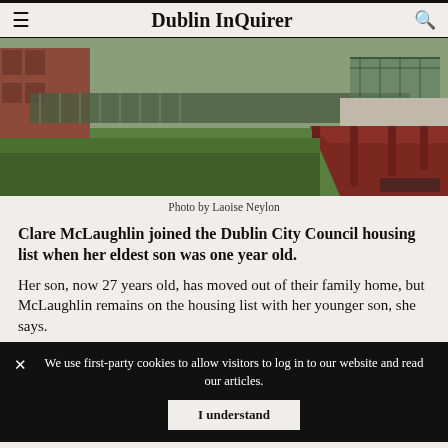Dublin InQuirer
[Figure (photo): Outdoor photo of a grassy area with a red/brown metal railing or barrier along a path, brick buildings visible in background behind a fence, overcast sky.]
Photo by Laoise Neylon
Clare McLaughlin joined the Dublin City Council housing list when her eldest son was one year old.
Her son, now 27 years old, has moved out of their family home, but McLaughlin remains on the housing list with her younger son, she says.
We use first-party cookies to allow visitors to log in to our website and read our articles. I understand
was old, run-down and had no heating upstairs, she says.